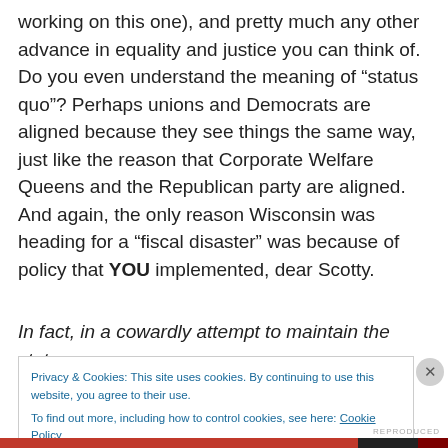working on this one), and pretty much any other advance in equality and justice you can think of. Do you even understand the meaning of “status quo”? Perhaps unions and Democrats are aligned because they see things the same way, just like the reason that Corporate Welfare Queens and the Republican party are aligned. And again, the only reason Wisconsin was heading for a “fiscal disaster” was because of policy that YOU implemented, dear Scotty.
In fact, in a cowardly attempt to maintain the status quo,
Privacy & Cookies: This site uses cookies. By continuing to use this website, you agree to their use.
To find out more, including how to control cookies, see here: Cookie Policy
Close and accept